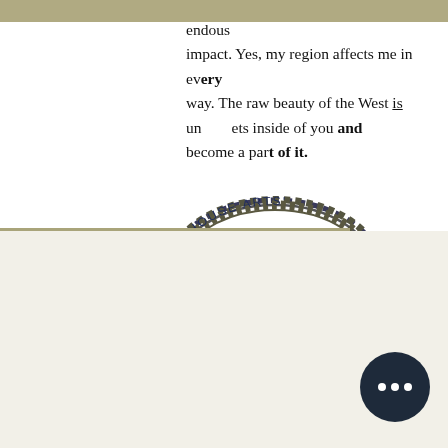endous impact. Yes, my region affects me in every way. The raw beauty of the West is undeniable, it gets inside of you and become a part of it.
[Figure (logo): Sunhouse Arts' Work Project logo — an oval rope border containing the letters WP in decorative serif style, with 'SUNHOUSE ARTS'' arched above and 'WORK PROJECT' arched below.]